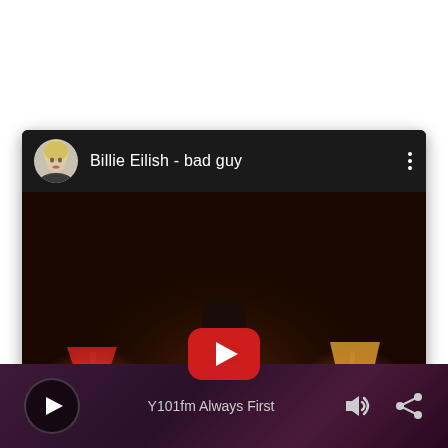[Figure (screenshot): Mobile phone screenshot showing a YouTube video card for 'Billie Eilish - bad guy' with a dark music video thumbnail featuring a dimly lit room scene with warm lamp lights, a red YouTube play button overlay, and artist avatar. Below the card is a media player bar with purple/maroon gradient background showing a play button, 'Y101fm Always First' label, volume icon, and share icon.]